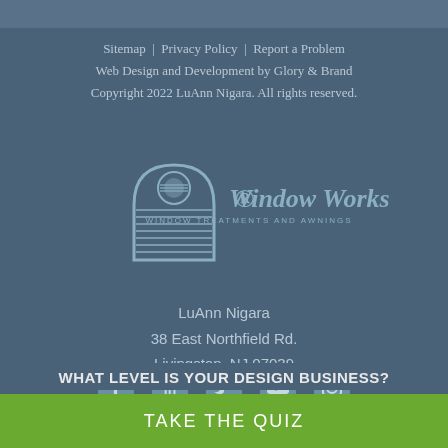Sitemap | Privacy Policy | Report a Problem
Web Design and Development by Glory & Brand
Copyright 2022 LuAnn Nigara. All rights reserved.
[Figure (logo): Window Works logo - arched window blind graphic with text 'Window Works WINDOW TREATMENTS AND AWNINGS']
LuAnn Nigara
38 East Northfield Rd.
Livingston, NJ 07039
[Figure (infographic): Social media icons: Facebook, LinkedIn, Twitter, YouTube, Instagram]
WHAT LEVEL IS YOUR DESIGN BUSINESS?
TAKE THE QUIZ